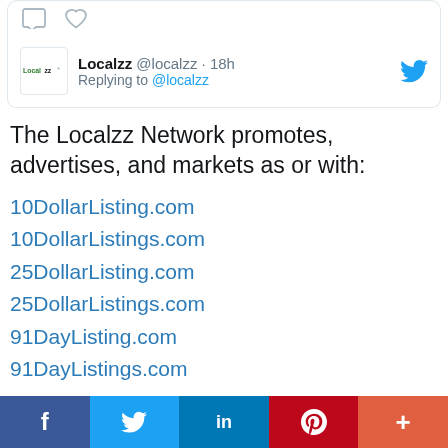[Figure (screenshot): Twitter/X social share icons at top of tweet card (comment bubble and heart outline icons)]
[Figure (screenshot): Localzz logo avatar with green and black text]
Localzz @localzz · 18h
Replying to @localzz
The Localzz Network promotes, advertises, and markets as or with:
10DollarListing.com
10DollarListings.com
25DollarListing.com
25DollarListings.com
91DayListing.com
91DayListings.com
AddListingHQ.com
[Figure (screenshot): Social sharing bar with Facebook, Twitter, LinkedIn, Pinterest, and More buttons]